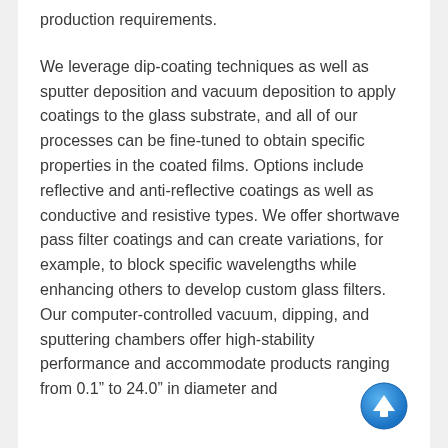production requirements.
We leverage dip-coating techniques as well as sputter deposition and vacuum deposition to apply coatings to the glass substrate, and all of our processes can be fine-tuned to obtain specific properties in the coated films. Options include reflective and anti-reflective coatings as well as conductive and resistive types. We offer shortwave pass filter coatings and can create variations, for example, to block specific wavelengths while enhancing others to develop custom glass filters. Our computer-controlled vacuum, dipping, and sputtering chambers offer high-stability performance and accommodate products ranging from 0.1” to 24.0” in diameter and
[Figure (other): Blue circular scroll-to-top button with white upward arrow icon]